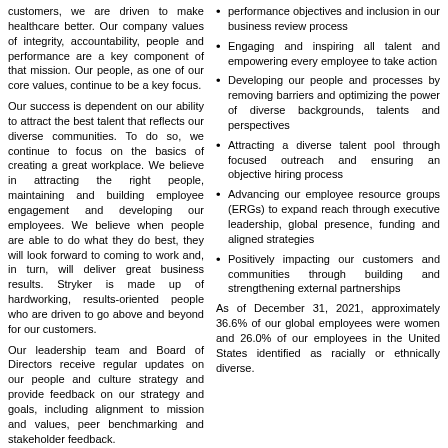customers, we are driven to make healthcare better. Our company values of integrity, accountability, people and performance are a key component of that mission. Our people, as one of our core values, continue to be a key focus.
Our success is dependent on our ability to attract the best talent that reflects our diverse communities. To do so, we continue to focus on the basics of creating a great workplace. We believe in attracting the right people, maintaining and building employee engagement and developing our employees. We believe when people are able to do what they do best, they will look forward to coming to work and, in turn, will deliver great business results. Stryker is made up of hardworking, results-oriented people who are driven to go above and beyond for our customers.
Our leadership team and Board of Directors receive regular updates on our people and culture strategy and provide feedback on our strategy and goals, including alignment to mission and values, peer benchmarking and stakeholder feedback.
Employee Development
performance objectives and inclusion in our business review process
Engaging and inspiring all talent and empowering every employee to take action
Developing our people and processes by removing barriers and optimizing the power of diverse backgrounds, talents and perspectives
Attracting a diverse talent pool through focused outreach and ensuring an objective hiring process
Advancing our employee resource groups (ERGs) to expand reach through executive leadership, global presence, funding and aligned strategies
Positively impacting our customers and communities through building and strengthening external partnerships
As of December 31, 2021, approximately 36.6% of our global employees were women and 26.0% of our employees in the United States identified as racially or ethnically diverse.